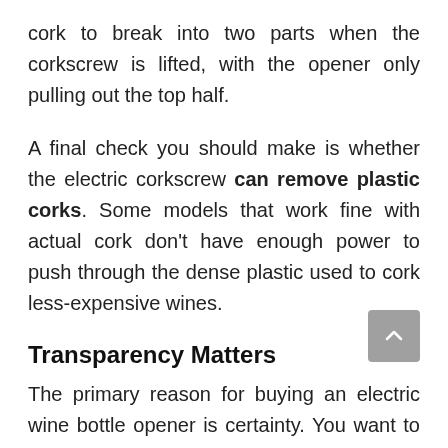cork to break into two parts when the corkscrew is lifted, with the opener only pulling out the top half.
A final check you should make is whether the electric corkscrew can remove plastic corks. Some models that work fine with actual cork don't have enough power to push through the dense plastic used to cork less-expensive wines.
Transparency Matters
The primary reason for buying an electric wine bottle opener is certainty. You want to be